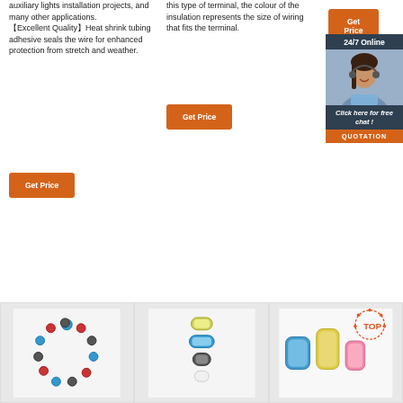auxiliary lights installation projects, and many other applications. 【Excellent Quality】Heat shrink tubing adhesive seals the wire for enhanced protection from stretch and weather.
this type of terminal, the colour of the insulation represents the size of wiring that fits the terminal.
[Figure (other): Orange 'Get Price' button in top right area]
[Figure (other): 24/7 Online support widget with photo of customer service representative and 'Click here for free chat!' and QUOTATION button]
[Figure (other): Orange 'Get Price' button in middle column]
[Figure (other): Orange 'Get Price' button in left column]
[Figure (photo): Ring of colorful wire connector terminals]
[Figure (photo): Several heat shrink connectors in various sizes]
[Figure (photo): Heat shrink wire connectors in blue, yellow and pink with TOP branding]